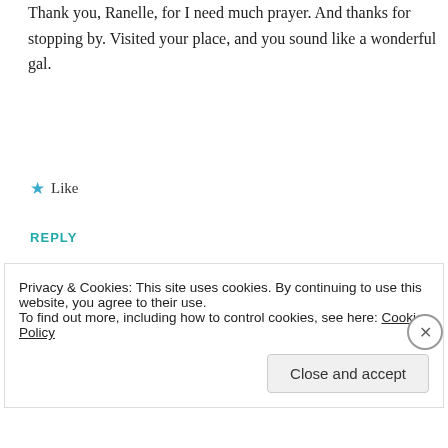Thank you, Ranelle, for I need much prayer. And thanks for stopping by. Visited your place, and you sound like a wonderful gal.
★ Like
REPLY
Leave a Reply to
apronsandappetites.com Cancel
Privacy & Cookies: This site uses cookies. By continuing to use this website, you agree to their use.
To find out more, including how to control cookies, see here: Cookie Policy
Close and accept